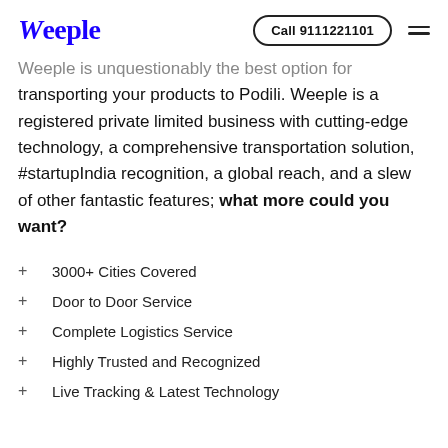Weeple | Call 9111221101
Weeple is unquestionably the best option for transporting your products to Podili. Weeple is a registered private limited business with cutting-edge technology, a comprehensive transportation solution, #startupIndia recognition, a global reach, and a slew of other fantastic features; what more could you want?
3000+ Cities Covered
Door to Door Service
Complete Logistics Service
Highly Trusted and Recognized
Live Tracking & Latest Technology